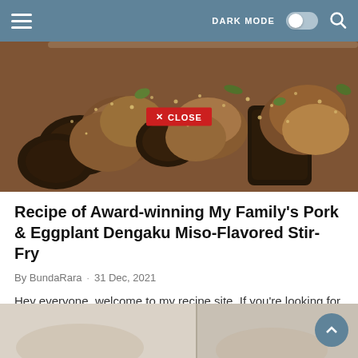DARK MODE  [toggle]  [search]
[Figure (photo): Close-up photo of pork and eggplant dengaku miso-flavored stir-fry dish on a plate, with a red CLOSE button overlay in the center]
Recipe of Award-winning My Family's Pork & Eggplant Dengaku Miso-Flavored Stir-Fry
By BundaRara · 31 Dec, 2021
Hey everyone, welcome to my recipe site, If you're looking for new recipes to try this weeke... Read more
[Figure (photo): Bottom portion of another food photo showing white/cream colored food items, partially cut off]